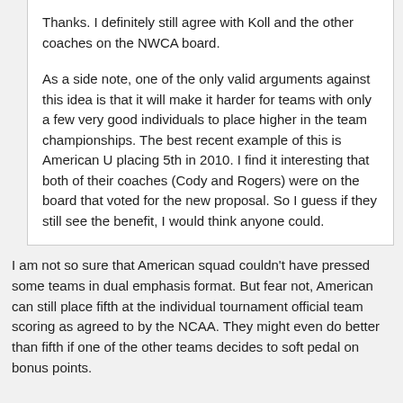Thanks. I definitely still agree with Koll and the other coaches on the NWCA board.
As a side note, one of the only valid arguments against this idea is that it will make it harder for teams with only a few very good individuals to place higher in the team championships. The best recent example of this is American U placing 5th in 2010. I find it interesting that both of their coaches (Cody and Rogers) were on the board that voted for the new proposal. So I guess if they still see the benefit, I would think anyone could.
I am not so sure that American squad couldn't have pressed some teams in dual emphasis format. But fear not, American can still place fifth at the individual tournament official team scoring as agreed to by the NCAA. They might even do better than fifth if one of the other teams decides to soft pedal on bonus points.